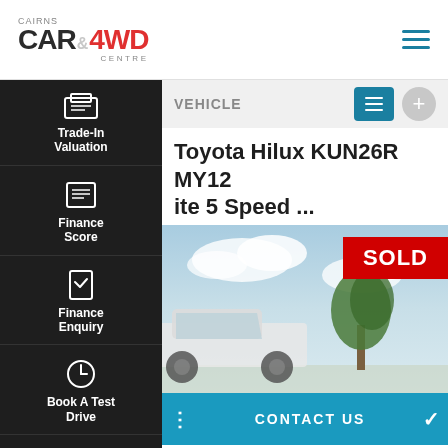[Figure (logo): Cairns Car & 4WD Centre logo with red 4WD text and hamburger menu icon]
VEHICLE
Toyota Hilux KUN26R MY12 ite 5 Speed ...
[Figure (photo): White Toyota Hilux pickup truck parked outdoors with a tree in background and red SOLD banner overlay]
CONTACT US
FINANCE SCORE